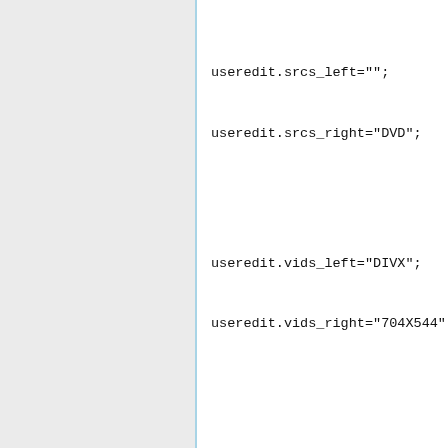useredit.srcs_left="";
useredit.srcs_right="DVD";

useredit.vids_left="DIVX";
useredit.vids_right="704X544";

useredit.auds_left="JP";
useredit.auds_right="MP3 24KHZ";

useredit.subs_left="EN";
useredit.subs_right="HARD";

useredit.tooltip_label_vids="The title has been encoded with <b>DivX 6 - 704 x 544 29.97fps</b>.";
useredit.tooltip_label_auds="The title utilized <b>MPEG